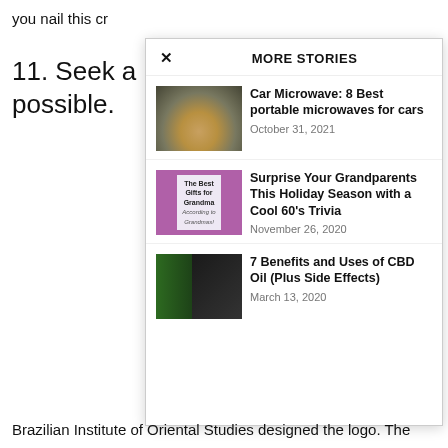you nail this cr
11. Seek a possible.
MORE STORIES
[Figure (photo): Thumbnail image of a car microwave - man looking into a bowl]
Car Microwave: 8 Best portable microwaves for cars
October 31, 2021
[Figure (photo): Thumbnail image - The Best Gifts for Grandma according to Grandmas, purple background]
Surprise Your Grandparents This Holiday Season with a Cool 60’s Trivia
November 26, 2020
[Figure (photo): Thumbnail image of CBD oil with plant leaves and silhouette]
7 Benefits and Uses of CBD Oil (Plus Side Effects)
March 13, 2020
Brazilian Institute of Oriental Studies designed the logo. The